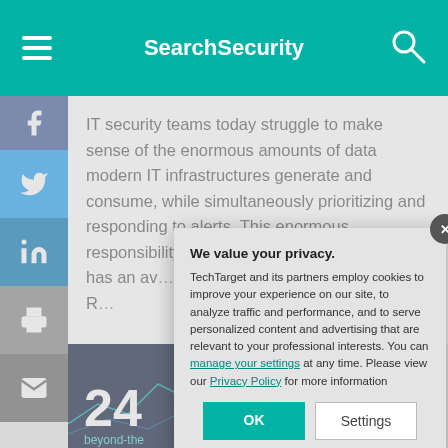SearchSecurity
IT security teams today struggle to make sense of the enormous amounts of data modern IT infrastructures generate and consume, while simultaneously prioritizing and responding to alerts. This enormous responsibility is compounded by long remediation times... attack has an average... breach to contain... a Data Breach R...
[Figure (screenshot): Dark background image with green network lines and the number 24 and text 'beyond-the...']
We value your privacy. TechTarget and its partners employ cookies to improve your experience on our site, to analyze traffic and performance, and to serve personalized content and advertising that are relevant to your professional interests. You can manage your settings at any time. Please view our Privacy Policy for more information